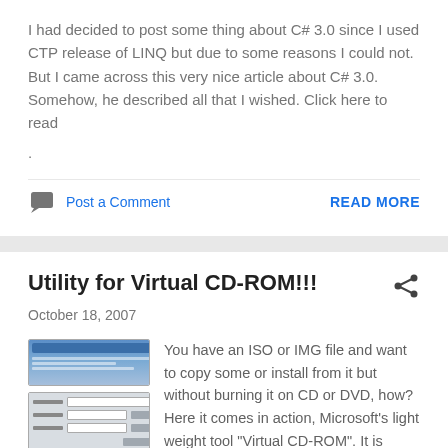I had decided to post some thing about C# 3.0 since I used CTP release of LINQ but due to some reasons I could not. But I came across this very nice article about C# 3.0. Somehow, he described all that I wished. Click here to read
.
Post a Comment
READ MORE
Utility for Virtual CD-ROM!!!
October 18, 2007
[Figure (screenshot): Two thumbnail screenshots of a software application (Virtual CD-ROM control panel)]
You have an ISO or IMG file and want to copy some or install from it but without burning it on CD or DVD, how? Here it comes in action, Microsoft's light weight tool "Virtual CD-ROM". It is much simple ...